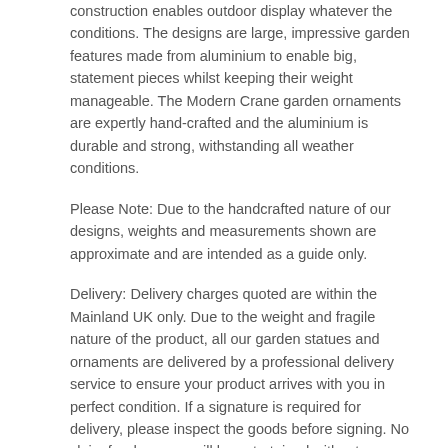construction enables outdoor display whatever the conditions. The designs are large, impressive garden features made from aluminium to enable big, statement pieces whilst keeping their weight manageable. The Modern Crane garden ornaments are expertly hand-crafted and the aluminium is durable and strong, withstanding all weather conditions.
Please Note: Due to the handcrafted nature of our designs, weights and measurements shown are approximate and are intended as a guide only.
Delivery: Delivery charges quoted are within the Mainland UK only. Due to the weight and fragile nature of the product, all our garden statues and ornaments are delivered by a professional delivery service to ensure your product arrives with you in perfect condition. If a signature is required for delivery, please inspect the goods before signing. No claim for damages will be entertained without a returned, signed and duly endorsed delivery note.
Material: Cast in Aluminium (Won't Rust)
Colour: Dark Bronze Verdigris Finish
Height: 95cm / 80cm
Width: 17cm / 17cm
Depth: 20cm / 20cm